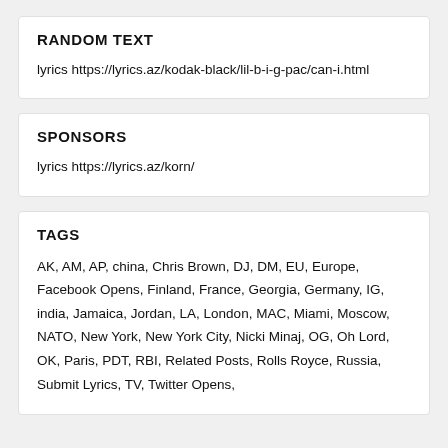RANDOM TEXT
lyrics https://lyrics.az/kodak-black/lil-b-i-g-pac/can-i.html
SPONSORS
lyrics https://lyrics.az/korn/
TAGS
AK, AM, AP, china, Chris Brown, DJ, DM, EU, Europe, Facebook Opens, Finland, France, Georgia, Germany, IG, india, Jamaica, Jordan, LA, London, MAC, Miami, Moscow, NATO, New York, New York City, Nicki Minaj, OG, Oh Lord, OK, Paris, PDT, RBI, Related Posts, Rolls Royce, Russia, Submit Lyrics, TV, Twitter Opens,